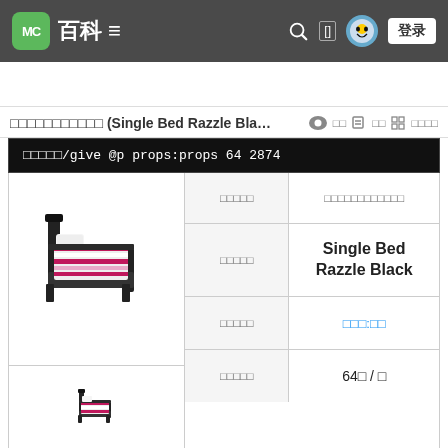MC 百科
□□□□□□□□□□□ (Single Bed Razzle Bla…
| □□□□□ | □□□□□□□□□□□□ |
| --- | --- |
| □□□□□ | Single Bed Razzle Black |
| □□□□□ | □□□:□□ |
| □□□□□ | 64□ / □ |
□/□□